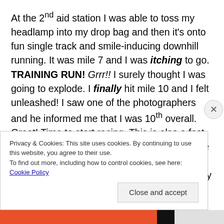At the 2nd aid station I was able to toss my headlamp into my drop bag and then it's onto fun single track and smile-inducing downhill running. It was mile 7 and I was itching to go. TRAINING RUN! Grrr!! I surely thought I was going to explode. I finally hit mile 10 and I felt unleashed! I saw one of the photographers and he informed me that I was 10th overall. Great! Time to start racing. This is also a fast section of the course and it wasn't long before I passed my first male. At around mile 15 we turn onto a long road climb and I could already see 3 more guys way up ahead
Privacy & Cookies: This site uses cookies. By continuing to use this website, you agree to their use.
To find out more, including how to control cookies, see here: Cookie Policy